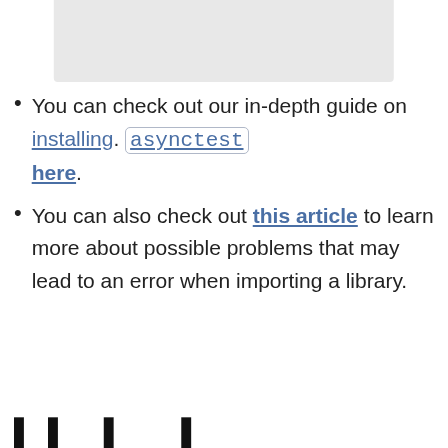[Figure (screenshot): Gray image/screenshot placeholder at top of page]
You can check out our in-depth guide on installing asynctest here.
You can also check out this article to learn more about possible problems that may lead to an error when importing a library.
Heading text partially visible at bottom (cut off)